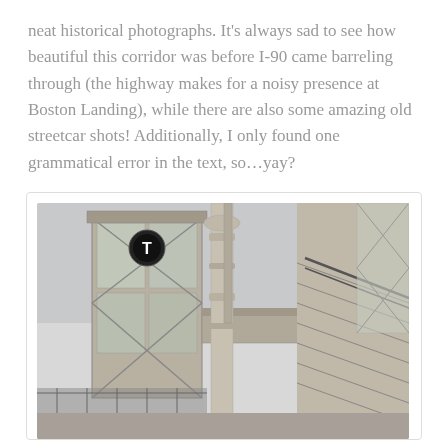neat historical photographs. It's always sad to see how beautiful this corridor was before I-90 came barreling through (the highway makes for a noisy presence at Boston Landing), while there are also some amazing old streetcar shots! Additionally, I only found one grammatical error in the text, so…yay?
[Figure (photo): Low-angle photograph of Boston Landing station showing a tall glass and steel entry tower with a circular MBTA T logo, a decorative iron column in the foreground, and a staircase with black railings on the right side leading to an elevated platform.]
The station's footbridge.